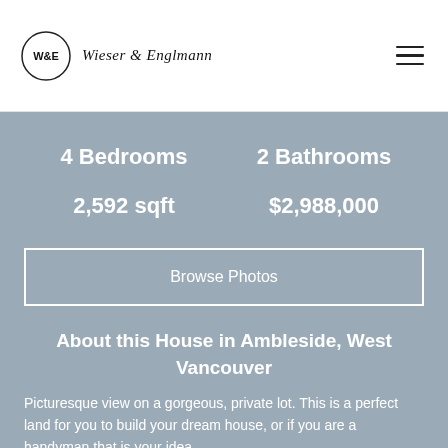Wieser & Englmann
4 Bedrooms   2 Bathrooms   2,592 sqft   $2,988,000
Browse Photos
About this House in Ambleside, West Vancouver
Picturesque view on a gorgeous, private lot. This is a perfect land for you to build your dream house, or if you are a handyman that is your idea